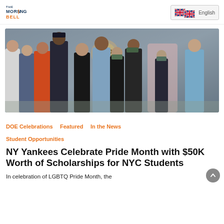THE MORNING BELL
[Figure (photo): Group of people posing together in front of a wall with plaques, some wearing face masks, at what appears to be a Yankees-related event celebrating LGBTQ Pride Month scholarships.]
DOE Celebrations   Featured   In the News   Student Opportunities
NY Yankees Celebrate Pride Month with $50K Worth of Scholarships for NYC Students
In celebration of LGBTQ Pride Month, the